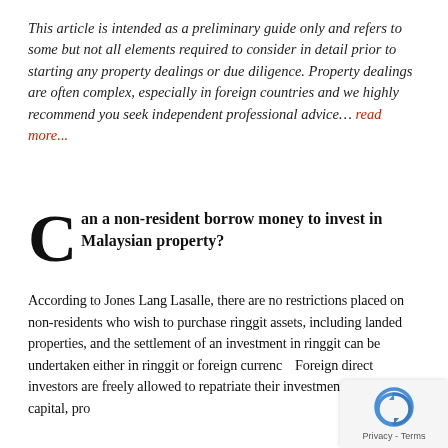This article is intended as a preliminary guide only and refers to some but not all elements required to consider in detail prior to starting any property dealings or due diligence. Property dealings are often complex, especially in foreign countries and we highly recommend you seek independent professional advice… read more...
Can a non-resident borrow money to invest in Malaysian property?
According to Jones Lang Lasalle, there are no restrictions placed on non-residents who wish to purchase ringgit assets, including landed properties, and the settlement of an investment in ringgit can be undertaken either in ringgit or foreign currency. Foreign direct investors are freely allowed to repatriate their investment, including capital, profits